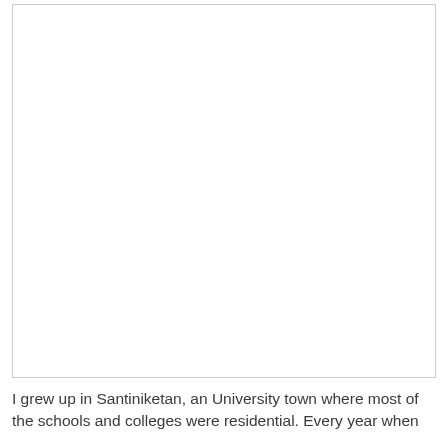[Figure (other): Large blank white image placeholder area with a light grey border]
I grew up in Santiniketan, an University town where most of the schools and colleges were residential. Every year when